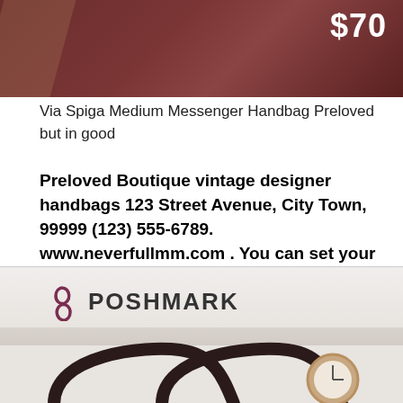[Figure (photo): Dark maroon/brown handbag product image cropped at top, with $70 price tag in white text at upper right]
Via Spiga Medium Messenger Handbag Preloved but in good
Preloved Boutique vintage designer handbags 123 Street Avenue, City Town, 99999 (123) 555-6789. www.neverfullmm.com . You can set your address, phone number, email and site description in the settings tab.
[Figure (photo): Poshmark logo (pink P icon with POSHMARK text) above a photo of dark leather handbag handles and a gold/rose watch on a white fluffy surface]